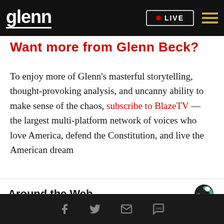glenn | LIVE
Want more from Glenn Beck?
To enjoy more of Glenn's masterful storytelling, thought-provoking analysis, and uncanny ability to make sense of the chaos, subscribe to BlazeTV — the largest multi-platform network of voices who love America, defend the Constitution, and live the American dream
Around the Web
Facebook | Twitter | Email | SMS